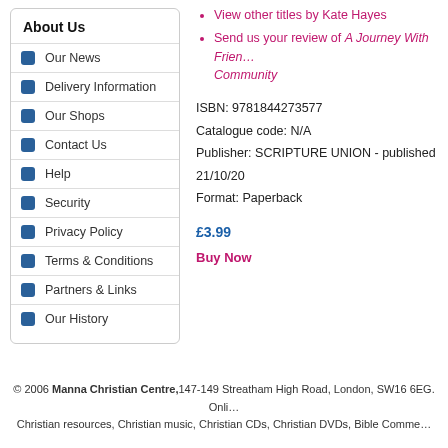About Us
Our News
Delivery Information
Our Shops
Contact Us
Help
Security
Privacy Policy
Terms & Conditions
Partners & Links
Our History
View other titles by Kate Hayes
Send us your review of A Journey With Friends Community
ISBN: 9781844273577
Catalogue code: N/A
Publisher: SCRIPTURE UNION - published 21/10/20
Format: Paperback
£3.99
Buy Now
© 2006 Manna Christian Centre, 147-149 Streatham High Road, London, SW16 6EG. Online Christian resources, Christian music, Christian CDs, Christian DVDs, Bible Comme...